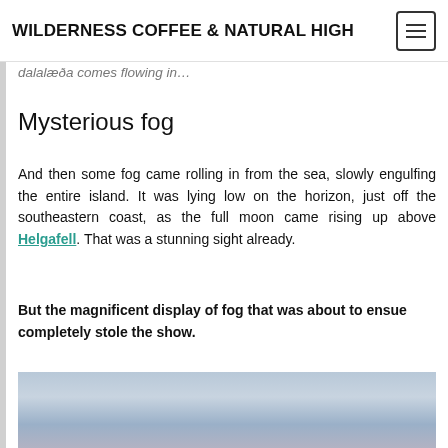WILDERNESS COFFEE & NATURAL HIGH
dalalæða comes flowing in…
Mysterious fog
And then some fog came rolling in from the sea, slowly engulfing the entire island. It was lying low on the horizon, just off the southeastern coast, as the full moon came rising up above Helgafell. That was a stunning sight already.
But the magnificent display of fog that was about to ensue completely stole the show.
[Figure (photo): Landscape photo showing a hazy horizon with pastel sky colors — blue-grey sky above, pinkish-purple fog layer at the horizon, and dark ground at the bottom.]